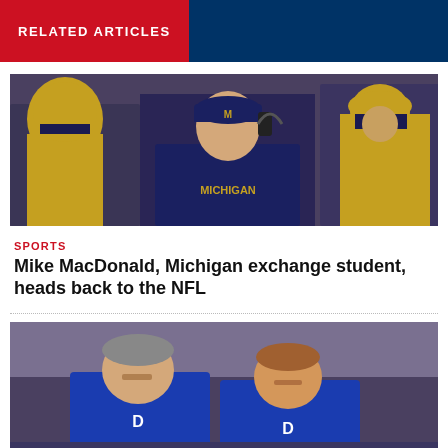RELATED ARTICLES
[Figure (photo): Michigan football coach Mike MacDonald wearing a Michigan shirt and headset, surrounded by players in Michigan uniforms]
SPORTS
Mike MacDonald, Michigan exchange student, heads back to the NFL
[Figure (photo): Duke basketball coaches sitting on bench in blue Duke jackets, including Jon Scheyer]
SPORTS
Duke's Jon Scheyer faces an impossible